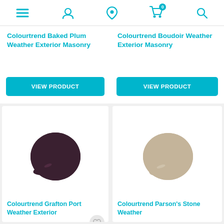Navigation icons: menu, account, location, cart (0), search
Colourtrend Baked Plum Weather Exterior Masonry
VIEW PRODUCT
Colourtrend Boudoir Weather Exterior Masonry
VIEW PRODUCT
[Figure (illustration): Dark plum/aubergine circular paint swatch droplet]
Colourtrend Grafton Port Weather Exterior
[Figure (illustration): Light stone/taupe circular paint swatch droplet]
Colourtrend Parson's Stone Weather